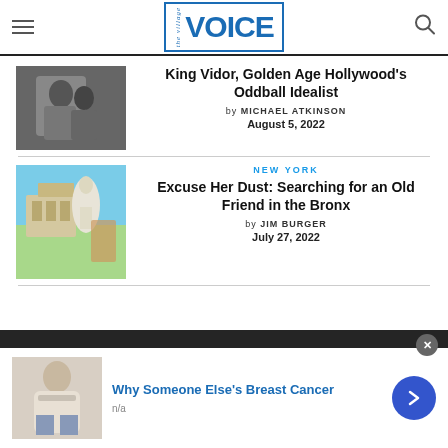the village VOICE
[Figure (photo): Black and white photo of a couple embracing]
King Vidor, Golden Age Hollywood's Oddball Idealist
by MICHAEL ATKINSON
August 5, 2022
[Figure (photo): Color photo of a statue and monument in a park with fall foliage]
NEW YORK
Excuse Her Dust: Searching for an Old Friend in the Bronx
by JIM BURGER
July 27, 2022
[Figure (photo): Ad banner: person in sweater seated]
Why Someone Else's Breast Cancer
n/a